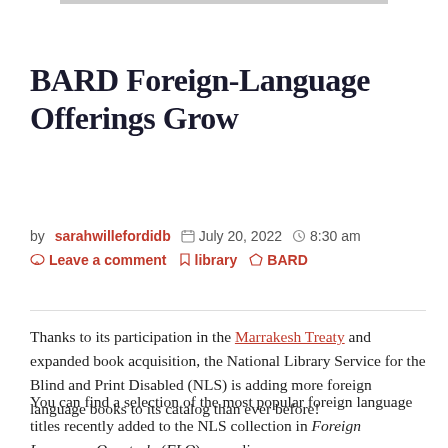BARD Foreign-Language Offerings Grow
by sarahwillefordidb  July 20, 2022  8:30 am  Leave a comment  library  BARD
Thanks to its participation in the Marrakesh Treaty and expanded book acquisition, the National Library Service for the Blind and Print Disabled (NLS) is adding more foreign language books to its catalog than ever before!
You can find a selection of the most popular foreign language titles recently added to the NLS collection in Foreign Language Quarterly (FLQ), an online